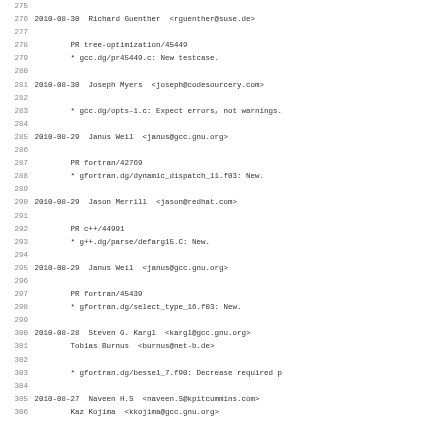275
276 2010-08-30  Richard Guenther  <rguenther@suse.de>
277
278		PR tree-optimization/45449
279		* gcc.dg/pr45449.c: New testcase.
280
281 2010-08-30  Joseph Myers  <joseph@codesourcery.com>
282
283		* gcc.dg/opts-1.c: Expect errors, not warnings.
284
285 2010-08-29  Janus Weil  <janus@gcc.gnu.org>
286
287		PR fortran/42769
288		* gfortran.dg/dynamic_dispatch_11.f03: New.
289
290 2010-08-29  Jason Merrill  <jason@redhat.com>
291
292		PR c++/44991
293		* g++.dg/parse/defarg15.C: New.
294
295 2010-08-29  Janus Weil  <janus@gcc.gnu.org>
296
297		PR fortran/45439
298		* gfortran.dg/select_type_16.f03: New.
299
300 2010-08-28  Steven G. Kargl  <kargl@gcc.gnu.org>
301		Tobias Burnus  <burnus@net-b.de>
302
303		* gfortran.dg/bessel_7.f90: Decrease required p
304
305 2010-08-27  Naveen H.S  <naveen.S@kpitcummins.com>
306		Kaz Kojima  <kkojima@gcc.gnu.org>